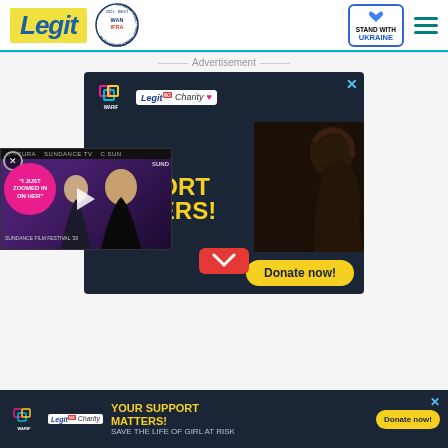Legit | WAN IFRA 2021 Best News Website in Africa | Stand With Ukraine
Advertisement
[Figure (infographic): Legit Charity / WARIF advertisement banner with text YOUR SUPPORT MATTERS! and Donate now! button on dark background with photo of a woman]
[Figure (screenshot): Video overlay showing Sundance Film Festival promotional video with pink bubble text 'I JUST ZOOMED IN ON HER' and play button]
[Figure (infographic): Bottom banner: YOUR SUPPORT MATTERS! SAVE THE LIFE OF GIRL AT RISK with Donate now! button]